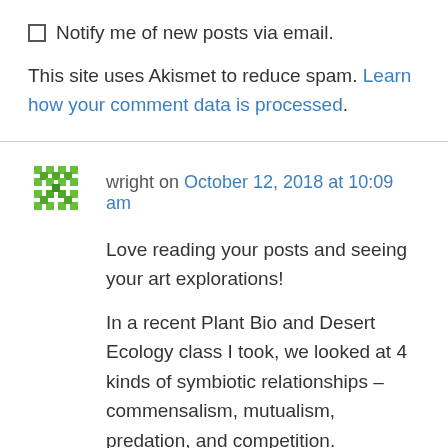Notify me of new posts via email.
This site uses Akismet to reduce spam. Learn how your comment data is processed.
wright on October 12, 2018 at 10:09 am
Love reading your posts and seeing your art explorations!
In a recent Plant Bio and Desert Ecology class I took, we looked at 4 kinds of symbiotic relationships – commensalism, mutualism, predation, and competition.
Commensalism – where one species benefits, but the relationship is neutral for the other.